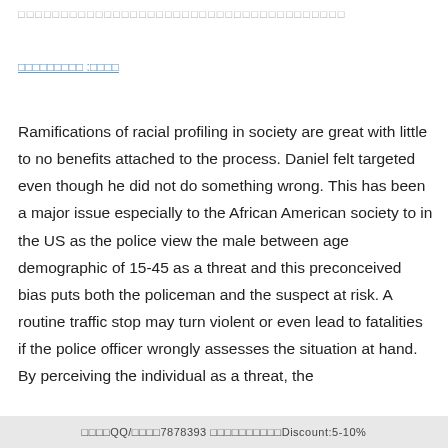□□□□□□□□□□□□□□□□□□□□□□□□□□□□□□□□□□□□
□□□□□□□□□ :□□□□
Ramifications of racial profiling in society are great with little to no benefits attached to the process. Daniel felt targeted even though he did not do something wrong. This has been a major issue especially to the African American society to in the US as the police view the male between age demographic of 15-45 as a threat and this preconceived bias puts both the policeman and the suspect at risk. A routine traffic stop may turn violent or even lead to fatalities if the police officer wrongly assesses the situation at hand. By perceiving the individual as a threat, the
□□□□QQ/□□□□7878393 □□□□□□□□□□Discount:5-10%